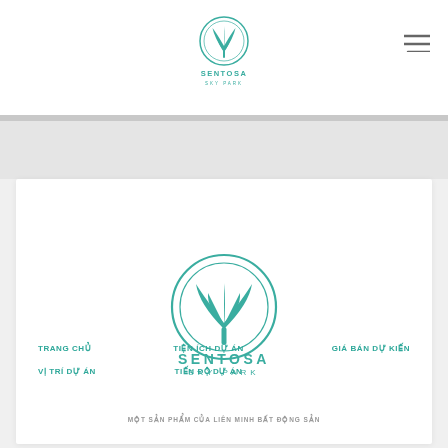[Figure (logo): Sentosa Sky Park logo in teal/green with circular emblem and text SENTOSA SKY PARK in top navigation bar]
[Figure (logo): Sentosa Sky Park large logo centered in white card area with circular emblem and text SENTOSA / SKY PARK]
TRANG CHỦ
TIỆN ÍCH DỰ ÁN
GIÁ BÁN DỰ KIẾN
VỊ TRÍ DỰ ÁN
TIẾN ĐỘ DỰ ÁN
MỘT SẢN PHẨM CỦA LIÊN MINH BẤT ĐỘNG SẢN